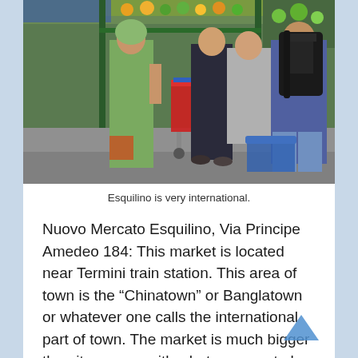[Figure (photo): People standing at a market stall. A woman in green dress on the left, men in dark clothing facing away, one with a large black backpack. Red shopping cart visible. Market produce in background.]
Esquilino is very international.
Nuovo Mercato Esquilino, Via Principe Amedeo 184: This market is located near Termini train station. This area of town is the “Chinatown” or Banglatown or whatever one calls the international part of town. The market is much bigger than it appears with what appears to be markets within markets. There are stalls selling produce and groceries from Bangladesh, India, Senegal, China, Kenya, Philippines, Italy, and